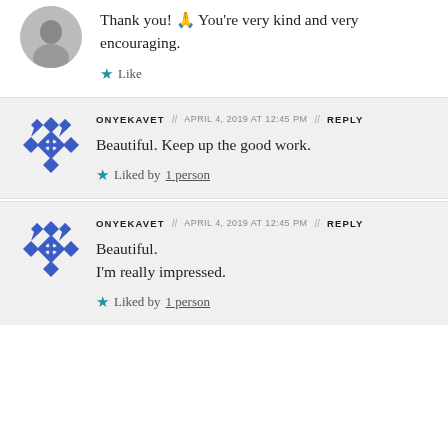Thank you! 🙏 You're very kind and very encouraging.
Like
ONYEKAVET // APRIL 4, 2019 AT 12:45 PM // REPLY
Beautiful. Keep up the good work.
Liked by 1 person
ONYEKAVET // APRIL 4, 2019 AT 12:45 PM // REPLY
Beautiful.
I'm really impressed.
Liked by 1 person